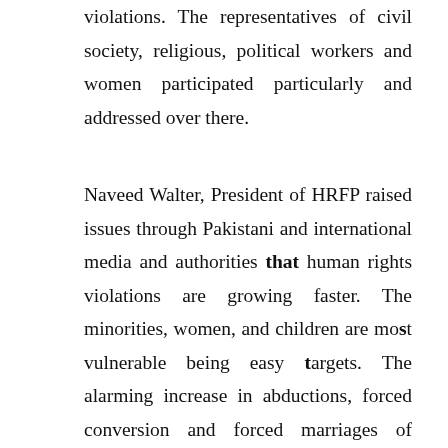violations. The representatives of civil society, religious, political workers and women participated particularly and addressed over there.
Naveed Walter, President of HRFP raised issues through Pakistani and international media and authorities that human rights violations are growing faster. The minorities, women, and children are most vulnerable being easy targets. The alarming increase in abductions, forced conversion and forced marriages of minority girls has reached to 1500 a year. He said, a forced conversions bill was forwarded in Parliament for legislation but that was rejected saying it an un-